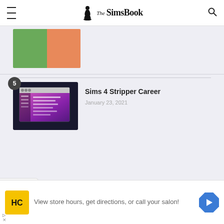The SimsBook
[Figure (screenshot): Partial thumbnail of a Sims 4 related image showing green/orange colored content, cropped at top]
[Figure (screenshot): Thumbnail for Sims 4 Stripper Career article showing a dark purple game UI window with sidebar]
Sims 4 Stripper Career
January 23, 2021
[Figure (screenshot): Advertisement banner: HC logo (yellow square), text 'View store hours, get directions, or call your salon!', blue direction arrow icon]